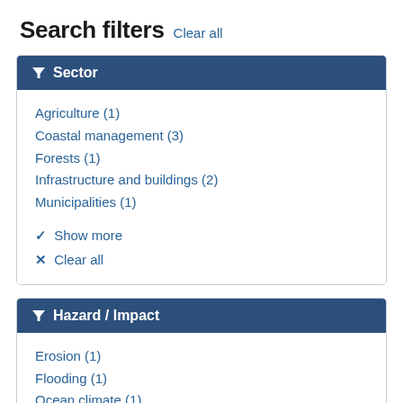Search filters Clear all
Sector
Agriculture (1)
Coastal management (3)
Forests (1)
Infrastructure and buildings (2)
Municipalities (1)
Show more
Clear all
Hazard / Impact
Erosion (1)
Flooding (1)
Ocean climate (1)